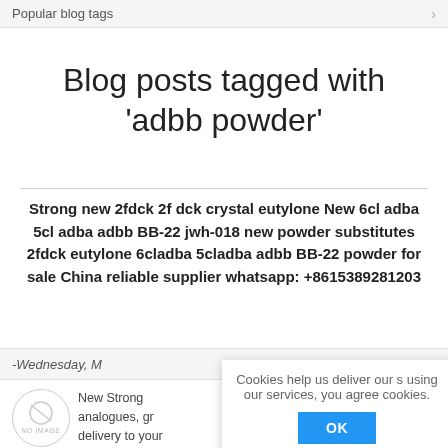Popular blog tags
Blog posts tagged with 'adbb powder'
Strong new 2fdck 2f dck crystal eutylone New 6cl adba 5cl adba adbb BB-22 jwh-018 new powder substitutes 2fdck eutylone 6cladba 5cladba adbb BB-22 powder for sale China reliable supplier whatsapp: +8615389281203
-Wednesday, M...
[Figure (illustration): No image placeholder circle with text 'NO IMAGE']
New Strong... analogues, gr... delivery to your... New 6cladba n... new SGT-151 t...
Cookies help us deliver our s... using our services, you agree... cookies.